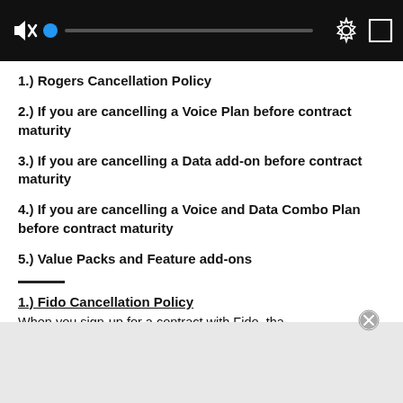[Figure (screenshot): Video player control bar with mute icon, blue progress dot, progress track, gear settings icon, and expand/fullscreen icon on a dark background]
1.) Rogers Cancellation Policy
2.) If you are cancelling a Voice Plan before contract maturity
3.) If you are cancelling a Data add-on before contract maturity
4.) If you are cancelling a Voice and Data Combo Plan before contract maturity
5.) Value Packs and Feature add-ons
1.) Fido Cancellation Policy
When you sign-up for a contract with Fido, tha contract ce and a witho